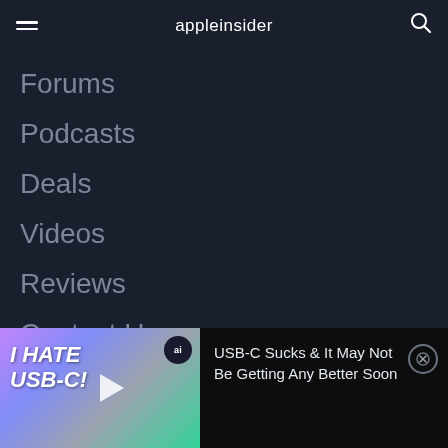appleinsider
Forums
Podcasts
Deals
Videos
Reviews
Contact Us
Advertise on AI
DESIGNED BY CRAFTED
[Figure (screenshot): Video thumbnail showing 'I HATE USB-C!' text with USB-C cables and an ai badge logo, with play button overlay]
USB-C Sucks & It May Not Be Getting Any Better Soon